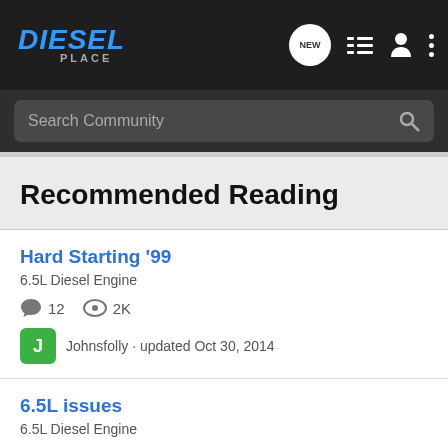Diesel Place — Navigation bar with logo, NEW, list, user, and menu icons
Search Community
Recommended Reading
Hard Starting '99
6.5L Diesel Engine
12 comments  2K views
Johnsfolly · updated Oct 30, 2014
6.5L issues
6.5L Diesel Engine
7 comments  463 views